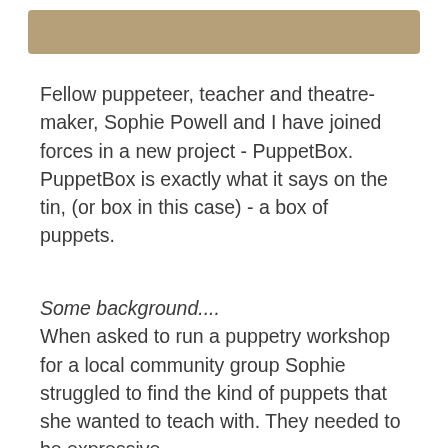[Figure (other): Tan/khaki colored horizontal banner bar at top of page]
Fellow puppeteer, teacher and theatre-maker, Sophie Powell and I have joined forces in a new project - PuppetBox. PuppetBox is exactly what it says on the tin, (or box in this case) - a box of puppets.
Some background....
When asked to run a puppetry workshop for a local community group Sophie struggled to find the kind of puppets that she wanted to teach with. They needed to be expressive enough to work with and yet neutral